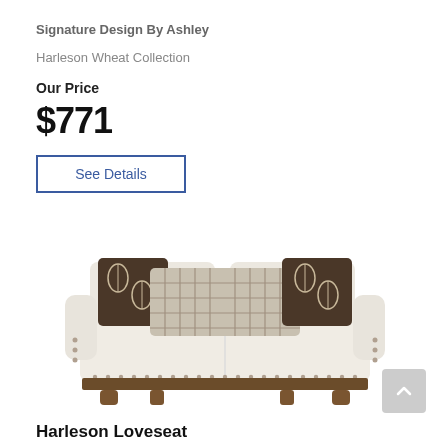Signature Design By Ashley
Harleson Wheat Collection
Our Price
$771
See Details
[Figure (photo): A cream/beige loveseat with nailhead trim, rolled arms, dark wood feet, and four decorative throw pillows — two plaid and two dark with leaf pattern]
Harleson Loveseat